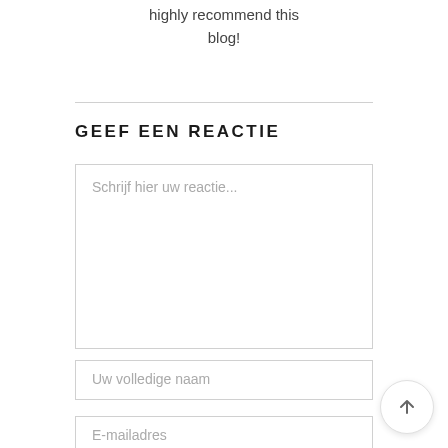highly recommend this blog!
GEEF EEN REACTIE
Schrijf hier uw reactie...
Uw volledige naam
E-mailadres